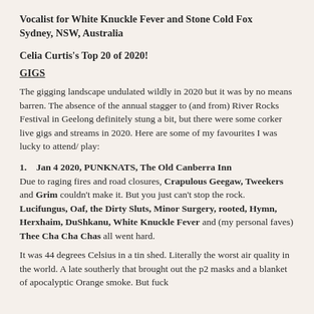Vocalist for White Knuckle Fever and Stone Cold Fox
Sydney, NSW, Australia
Celia Curtis's Top 20 of 2020!
GIGS
The gigging landscape undulated wildly in 2020 but it was by no means barren. The absence of the annual stagger to (and from) River Rocks Festival in Geelong definitely stung a bit, but there were some corker live gigs and streams in 2020. Here are some of my favourites I was lucky to attend/ play:
1.   Jan 4 2020, PUNKNATS, The Old Canberra Inn
Due to raging fires and road closures, Crapulous Geegaw, Tweekers and Grim couldn't make it. But you just can't stop the rock. Lucifungus, Oaf, the Dirty Sluts, Minor Surgery, rooted, Hymn, Herxhaim, DuShkanu, White Knuckle Fever and (my personal faves) Thee Cha Cha Chas all went hard.
It was 44 degrees Celsius in a tin shed. Literally the worst air quality in the world. A late southerly that brought out the p2 masks and a blanket of apocalyptic Orange smoke. But fuck